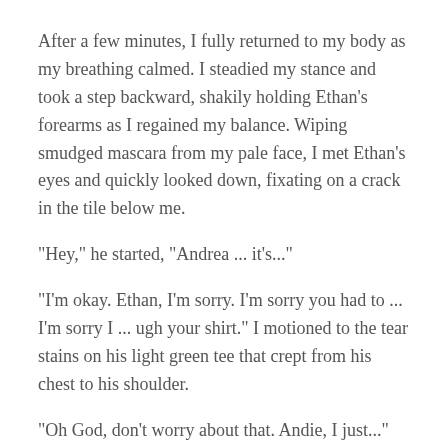After a few minutes, I fully returned to my body as my breathing calmed. I steadied my stance and took a step backward, shakily holding Ethan's forearms as I regained my balance. Wiping smudged mascara from my pale face, I met Ethan's eyes and quickly looked down, fixating on a crack in the tile below me.
"Hey," he started, "Andrea ... it's..."
"I'm okay. Ethan, I'm sorry. I'm sorry you had to ... I'm sorry I ... ugh your shirt." I motioned to the tear stains on his light green tee that crept from his chest to his shoulder.
"Oh God, don't worry about that. Andie, I just..."
"It's fine." I wiped my face and took a deep breath. "Thanks," I said, squeezing Ethan's hand and looking in